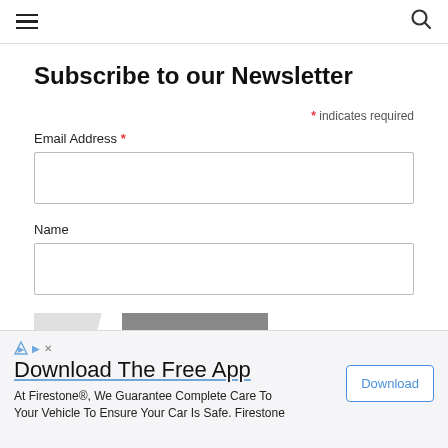Navigation header with hamburger menu and search icon
Subscribe to our Newsletter
* indicates required
Email Address *
Name
SUBSCRIBE
[Figure (screenshot): Advertisement bar: Download The Free App — At Firestone®, We Guarantee Complete Care To Your Vehicle To Ensure Your Car Is Safe. Firestone — Download button]